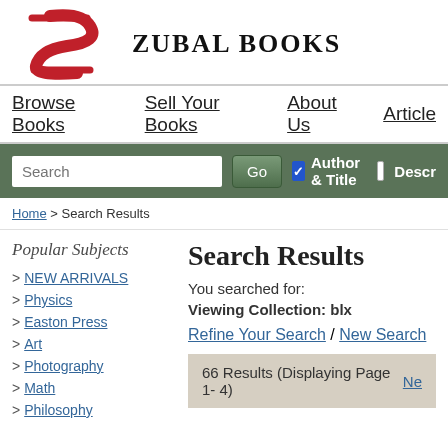[Figure (logo): Zubal Books logo with red Z swoosh and black serif text]
Browse Books   Sell Your Books   About Us   Articles
[Figure (screenshot): Search bar with text input, Go button, Author & Title checkbox (checked), Description checkbox (unchecked)]
Home > Search Results
Popular Subjects
> NEW ARRIVALS
> Physics
> Easton Press
> Art
> Photography
> Math
> Philosophy
Search Results
You searched for:
Viewing Collection: blx
Refine Your Search / New Search
66 Results (Displaying Page 1- 4)